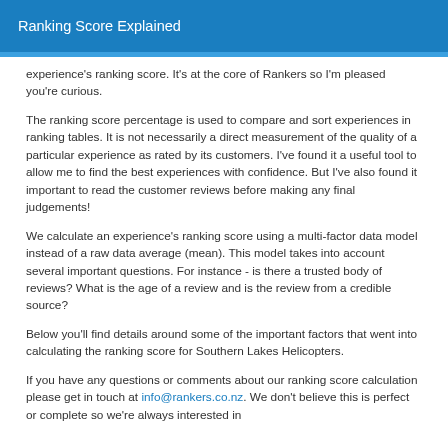Ranking Score Explained
experience's ranking score. It's at the core of Rankers so I'm pleased you're curious.
The ranking score percentage is used to compare and sort experiences in ranking tables. It is not necessarily a direct measurement of the quality of a particular experience as rated by its customers. I've found it a useful tool to allow me to find the best experiences with confidence. But I've also found it important to read the customer reviews before making any final judgements!
We calculate an experience's ranking score using a multi-factor data model instead of a raw data average (mean). This model takes into account several important questions. For instance - is there a trusted body of reviews? What is the age of a review and is the review from a credible source?
Below you'll find details around some of the important factors that went into calculating the ranking score for Southern Lakes Helicopters.
If you have any questions or comments about our ranking score calculation please get in touch at info@rankers.co.nz. We don't believe this is perfect or complete so we're always interested in